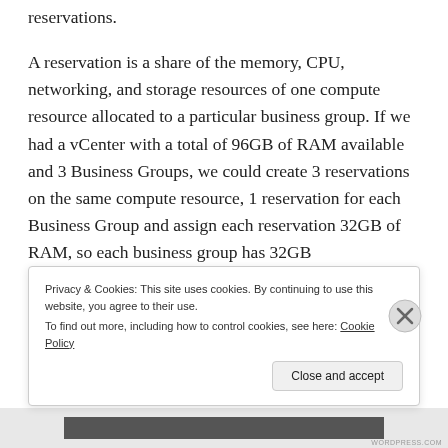a business group can have multiple reservations.
A reservation is a share of the memory, CPU, networking, and storage resources of one compute resource allocated to a particular business group. If we had a vCenter with a total of 96GB of RAM available and 3 Business Groups, we could create 3 reservations on the same compute resource, 1 reservation for each Business Group and assign each reservation 32GB of RAM, so each business group has 32GB
Privacy & Cookies: This site uses cookies. By continuing to use this website, you agree to their use. To find out more, including how to control cookies, see here: Cookie Policy
Close and accept